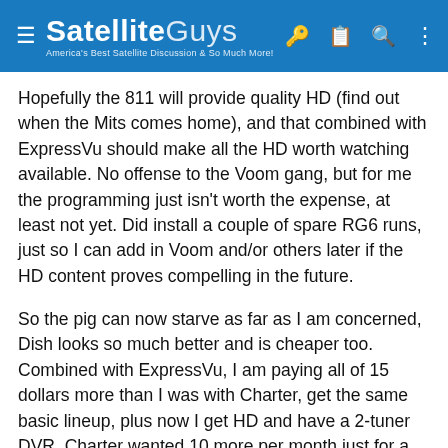SatelliteGuys — America's Best Satellite Discussion & So Much More!
Hopefully the 811 will provide quality HD (find out when the Mits comes home), and that combined with ExpressVu should make all the HD worth watching available. No offense to the Voom gang, but for me the programming just isn't worth the expense, at least not yet. Did install a couple of spare RG6 runs, just so I can add in Voom and/or others later if the HD content proves compelling in the future.
So the pig can now starve as far as I am concerned, Dish looks so much better and is cheaper too. Combined with ExpressVu, I am paying all of 15 dollars more than I was with Charter, get the same basic lineup, plus now I get HD and have a 2-tuner DVR. Charter wanted 10 more per month just for a DVR, and no HD. If OTA was available it might be a different story, but right now I couldn't be happier.